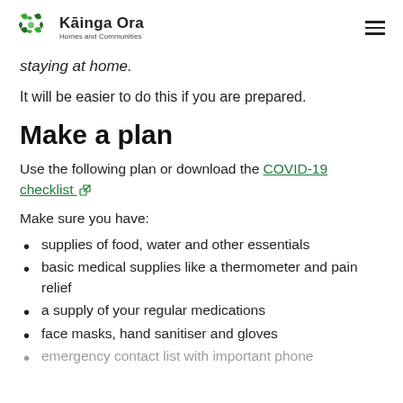Kāinga Ora – Homes and Communities
staying at home.
It will be easier to do this if you are prepared.
Make a plan
Use the following plan or download the COVID-19 checklist
Make sure you have:
supplies of food, water and other essentials
basic medical supplies like a thermometer and pain relief
a supply of your regular medications
face masks, hand sanitiser and gloves
emergency contact list with important phone